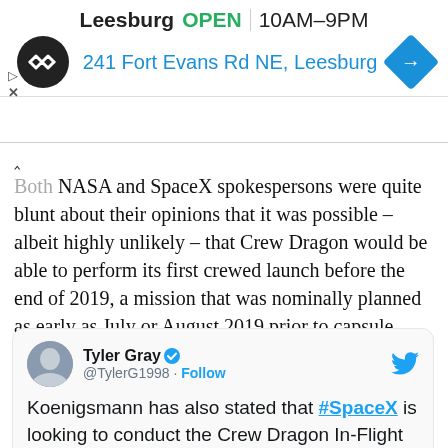[Figure (screenshot): Ad banner for Leesburg store showing logo, OPEN hours 10AM–9PM, address 241 Fort Evans Rd NE Leesburg, and navigation arrow icon]
Both NASA and SpaceX spokespersons were quite blunt about their opinions that it was possible – albeit highly unlikely – that Crew Dragon would be able to perform its first crewed launch before the end of 2019, a mission that was nominally planned as early as July or August 2019 prior to capsule C201's explosion.
[Figure (screenshot): Embedded tweet from Tyler Gray (@TylerG1998) with verified badge and Follow button. Tweet text: Koenigsmann has also stated that #SpaceX is looking to conduct the Crew Dragon In-Flight Abort test from LC-39A NET October or November, with the DM-2 mission "hopefully" launching before the year is out]